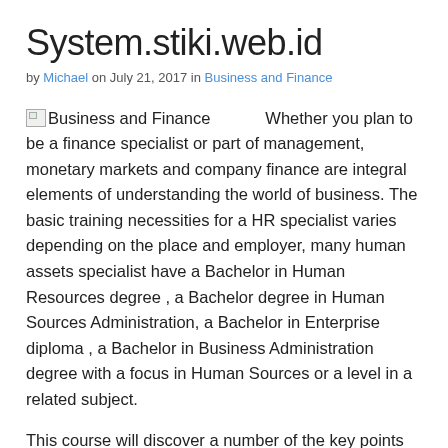System.stiki.web.id
by Michael on July 21, 2017 in Business and Finance
Business and Finance   Whether you plan to be a finance specialist or part of management, monetary markets and company finance are integral elements of understanding the world of business. The basic training necessities for a HR specialist varies depending on the place and employer, many human assets specialist have a Bachelor in Human Resources degree , a Bachelor degree in Human Sources Administration, a Bachelor in Enterprise diploma , a Bachelor in Business Administration degree with a focus in Human Sources or a level in a related subject.
This course will discover a number of the key points and themes from both a enterprise and finance